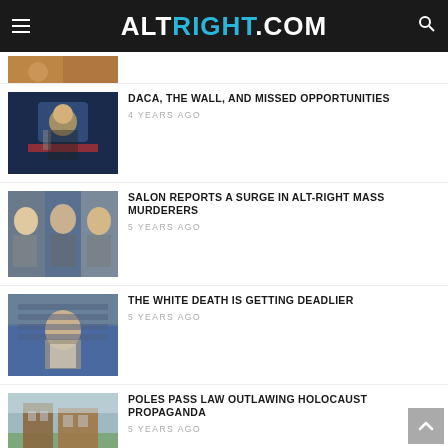ALTRIGHT.COM
[Figure (photo): Partial article thumbnail at top, cropped]
DACA, THE WALL, AND MISSED OPPORTUNITIES
4 YEARS AGO
[Figure (photo): Photo of a person gesturing at a podium]
SALON REPORTS A SURGE IN ALT-RIGHT MASS MURDERERS
5 YEARS AGO
[Figure (photo): Three young men mugshots]
THE WHITE DEATH IS GETTING DEADLIER
5 YEARS AGO
[Figure (photo): Person with head in hands looking distressed]
POLES PASS LAW OUTLAWING HOLOCAUST PROPAGANDA
5 YEARS AGO
[Figure (photo): Brick building exterior]
ART JONES DENIES THE SHOAH. SHOULD THE
[Figure (photo): Partial thumbnail at bottom]